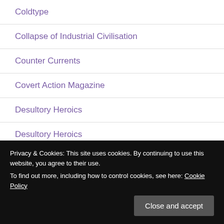Coldtype
Collapse of Industrial Civilisation
Counter Currents
Covert Action Magazine
Desultory Heroics
Desultory Heroics
Dimitri Orlov's 'Club Orlov'
Privacy & Cookies: This site uses cookies. By continuing to use this website, you agree to their use.
To find out more, including how to control cookies, see here: Cookie Policy
Edward Curtin